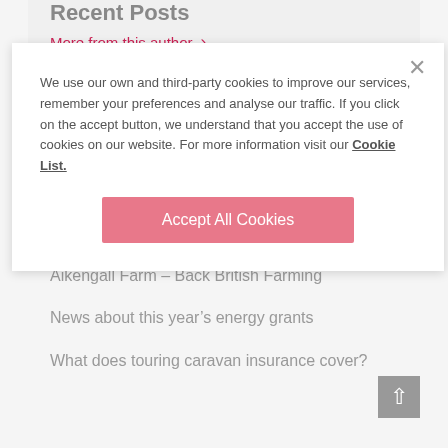More from this author →
We use our own and third-party cookies to improve our services, remember your preferences and analyse our traffic. If you click on the accept button, we understand that you accept the use of cookies on our website. For more information visit our Cookie List.
Accept All Cookies
Recent Posts
How to spot signs of damp in your house
Lost V5c: How to get a replacement log book
Aikengall Farm – Back British Farming
News about this year's energy grants
What does touring caravan insurance cover?